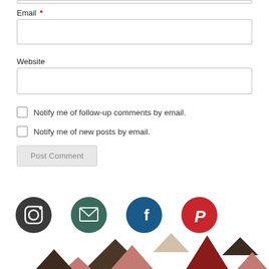Email *
Website
Notify me of follow-up comments by email.
Notify me of new posts by email.
Post Comment
[Figure (illustration): Social media icons: Instagram (dark grey circle), Email (dark green circle), Facebook (dark blue circle), Pinterest (red circle), followed by colorful triangle decorations at the bottom of the page.]